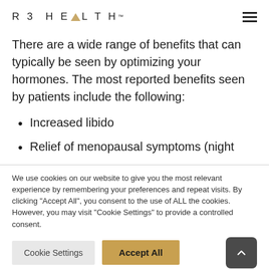R3 HEALTH™
There are a wide range of benefits that can typically be seen by optimizing your hormones. The most reported benefits seen by patients include the following:
Increased libido
Relief of menopausal symptoms (night
We use cookies on our website to give you the most relevant experience by remembering your preferences and repeat visits. By clicking "Accept All", you consent to the use of ALL the cookies. However, you may visit "Cookie Settings" to provide a controlled consent.